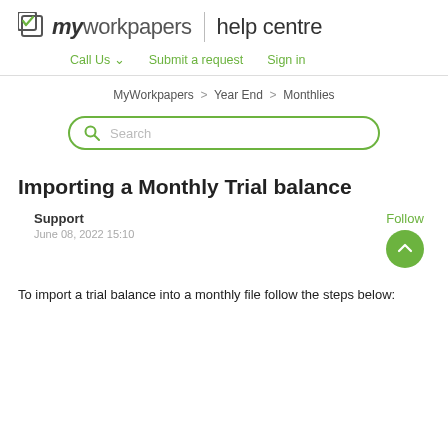myworkpapers | help centre
Call Us  Submit a request  Sign in
MyWorkpapers > Year End > Monthlies
Importing a Monthly Trial balance
Support
June 08, 2022 15:10
To import a trial balance into a monthly file follow the steps below: